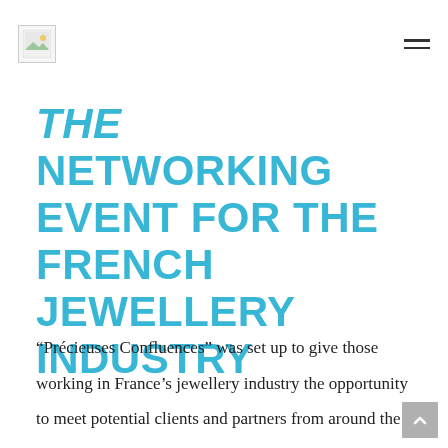[Logo] [Hamburger menu]
THE NETWORKING EVENT FOR THE FRENCH JEWELLERY INDUSTRY
“Précieuses Confluences” was set up to give those working in France’s jewellery industry the opportunity to meet potential clients and partners from around the world. The event was founded